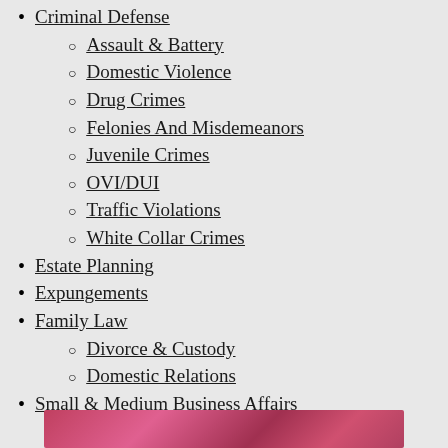Criminal Defense
Assault & Battery
Domestic Violence
Drug Crimes
Felonies And Misdemeanors
Juvenile Crimes
OVI/DUI
Traffic Violations
White Collar Crimes
Estate Planning
Expungements
Family Law
Divorce & Custody
Domestic Relations
Small & Medium Business Affairs
[Figure (photo): Partial view of a person photo strip at the bottom of the page]